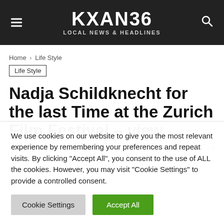KXAN36 LOCAL NEWS & HEADLINES
Home > Life Style
Life Style
Nadja Schildknecht for the last Time at the Zurich Film Festival – view
By Jennifer Alvarez - 13/09/2019  969  0
We use cookies on our website to give you the most relevant experience by remembering your preferences and repeat visits. By clicking "Accept All", you consent to the use of ALL the cookies. However, you may visit "Cookie Settings" to provide a controlled consent.